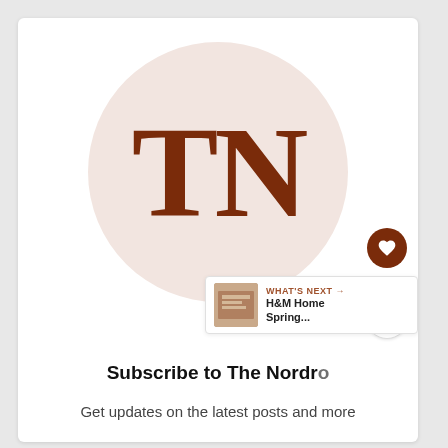[Figure (logo): Circular light pink logo with bold serif letters TN in dark brown, representing The Nordroom brand]
285
WHAT'S NEXT → H&M Home Spring...
Subscribe to The Nordro
Get updates on the latest posts and more